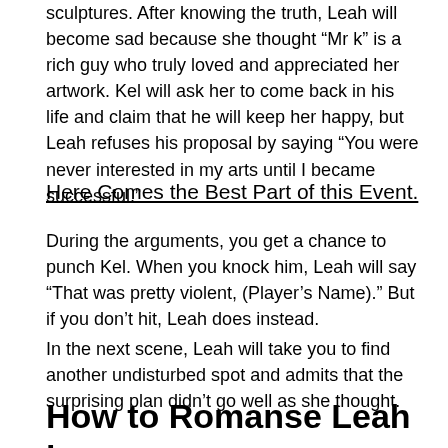sculptures. After knowing the truth, Leah will become sad because she thought “Mr k” is a rich guy who truly loved and appreciated her artwork. Kel will ask her to come back in his life and claim that he will keep her happy, but Leah refuses his proposal by saying “You were never interested in my arts until I became successful.”
Here Comes the Best Part of this Event.
During the arguments, you get a chance to punch Kel. When you knock him, Leah will say “That was pretty violent, (Player’s Name).” But if you don’t hit, Leah does instead.
In the next scene, Leah will take you to find another undisturbed spot and admits that the surprising plan didn’t go well as she thought.
How to Romanse Leah in...